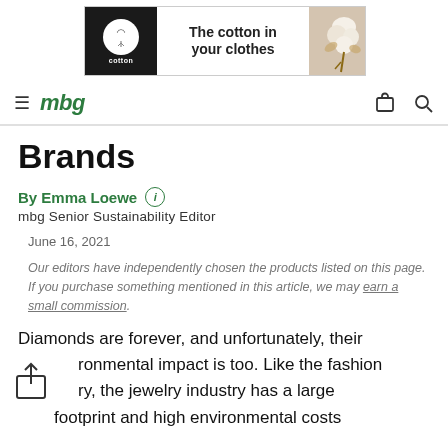[Figure (other): Banner advertisement for cotton industry. Black left panel with white cotton logo circle and 'cotton' wordmark. Bold text 'The cotton in your clothes'. Right panel shows a cotton boll photograph.]
mbg
Brands
By Emma Loewe  i
mbg Senior Sustainability Editor
June 16, 2021
Our editors have independently chosen the products listed on this page. If you purchase something mentioned in this article, we may earn a small commission.
Diamonds are forever, and unfortunately, their environmental impact is too. Like the fashion industry, the jewelry industry has a large carbon footprint and high environmental costs